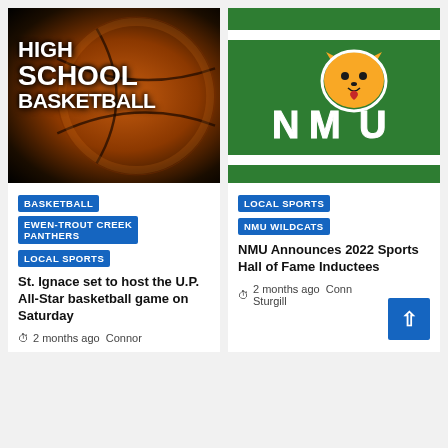[Figure (photo): High School Basketball promotional image with basketball and bold text reading HIGH SCHOOL BASKETBALL on dark background]
[Figure (photo): NMU Wildcats logo on green background with white and gold wildcat mascot and NMU lettering, flanked by green stripes]
BASKETBALL
EWEN-TROUT CREEK PANTHERS
LOCAL SPORTS
St. Ignace set to host the U.P. All-Star basketball game on Saturday
2 months ago  Connor
LOCAL SPORTS
NMU WILDCATS
NMU Announces 2022 Sports Hall of Fame Inductees
2 months ago  Conn Sturgill